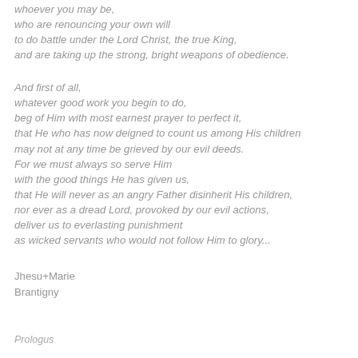whoever you may be,
who are renouncing your own will
to do battle under the Lord Christ, the true King,
and are taking up the strong, bright weapons of obedience.
And first of all,
whatever good work you begin to do,
beg of Him with most earnest prayer to perfect it,
that He who has now deigned to count us among His children
may not at any time be grieved by our evil deeds.
For we must always so serve Him
with the good things He has given us,
that He will never as an angry Father disinherit His children,
nor ever as a dread Lord, provoked by our evil actions,
deliver us to everlasting punishment
as wicked servants who would not follow Him to glory...
Jhesu+Marie
Brantigny
Prologus